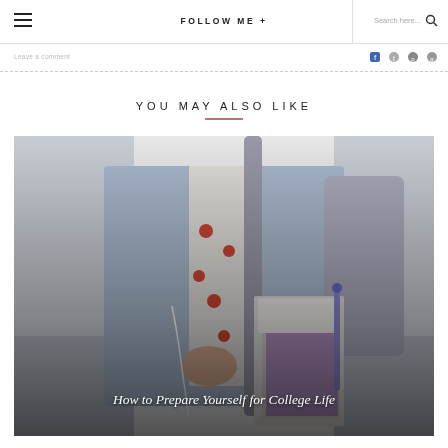FOLLOW ME +  Search here...
Leave a comment
YOU MAY ALSO LIKE
[Figure (photo): A college student wearing a light blue denim jacket over a white top with red polka dots, carrying a grey backpack and holding a stack of binders and books with a pen, viewed from the torso down. Overlaid text reads: How to Prepare Yourself for College Life]